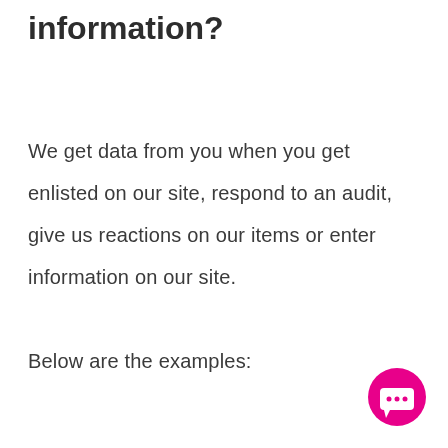information?
We get data from you when you get enlisted on our site, respond to an audit, give us reactions on our items or enter information on our site. Below are the examples:
[Figure (illustration): Pink/magenta circular chat button with three dots (ellipsis) icon in the bottom-right corner of the page]